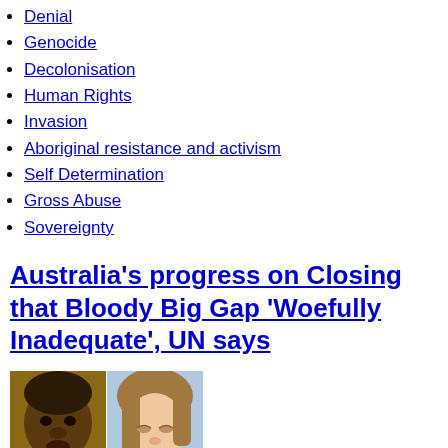Denial
Genocide
Decolonisation
Human Rights
Invasion
Aboriginal resistance and activism
Self Determination
Gross Abuse
Sovereignty
Australia's progress on Closing that Bloody Big Gap 'Woefully Inadequate', UN says
[Figure (photo): Two children side by side: an Aboriginal child on the left and a fair-skinned child on the right looking at something in her hands.]